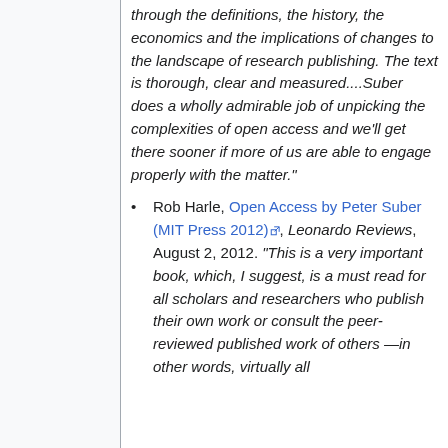through the definitions, the history, the economics and the implications of changes to the landscape of research publishing. The text is thorough, clear and measured....Suber does a wholly admirable job of unpicking the complexities of open access and we'll get there sooner if more of us are able to engage properly with the matter."
Rob Harle, Open Access by Peter Suber (MIT Press 2012), Leonardo Reviews, August 2, 2012. "This is a very important book, which, I suggest, is a must read for all scholars and researchers who publish their own work or consult the peer-reviewed published work of others —in other words, virtually all